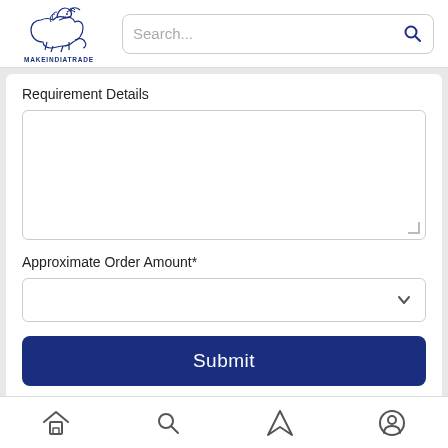[Figure (logo): MakeInIndiaTrade lion logo with MAKEINDIATRADE text below]
[Figure (screenshot): Search bar with placeholder text 'Search...' and search icon]
Requirement Details
[Figure (screenshot): Large textarea input field for requirement details]
Approximate Order Amount*
[Figure (screenshot): Dropdown select field for approximate order amount with chevron icon]
[Figure (screenshot): Submit button in dark navy blue]
[Figure (screenshot): Bottom navigation bar with home, search, send, and profile icons]